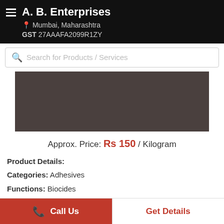A. B. Enterprises
Mumbai, Maharashtra
GST 27AAAFA2099R1ZY
Search for Products / Services
[Figure (photo): Product image placeholder - dark brownish-gray rectangle]
Approx. Price: Rs 150 / Kilogram
Product Details:
Categories: Adhesives
Functions: Biocides
Form...more